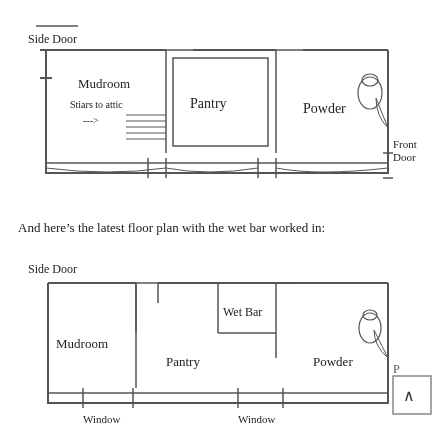[Figure (schematic): Hand-drawn floor plan sketch showing: Side Door label at top-left with a line above it, rooms labeled Mudroom (left), Pantry (center), Powder (right), Stiars to attic with arrow and staircase lines, Front Door label at far right. Rooms drawn with rectangle outlines, door swings, and connecting hallway at bottom.]
And here’s the latest floor plan with the wet bar worked in:
[Figure (schematic): Hand-drawn floor plan sketch showing: Side Door label at top-left, rooms labeled Mudroom (left), Pantry (center-left), Wet Bar (center, above pantry), Powder (right), toilet visible in powder room, Window labels at bottom-left and bottom-center. Rooms drawn with rectangle outlines, door swings. A scroll-to-top button with caret (^) in bottom-right corner.]